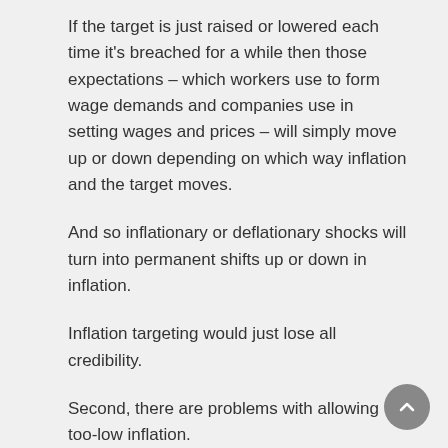If the target is just raised or lowered each time it's breached for a while then those expectations – which workers use to form wage demands and companies use in setting wages and prices – will simply move up or down depending on which way inflation and the target moves.
And so inflationary or deflationary shocks will turn into permanent shifts up or down in inflation.
Inflation targeting would just lose all credibility.
Second, there are problems with allowing too-low inflation.